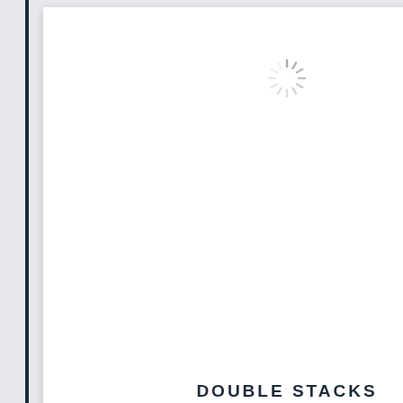[Figure (screenshot): Card with loading spinner and title DOUBLE STACKS]
[Figure (screenshot): Card with loading spinner and title FORTUNE CHARM (partially visible)]